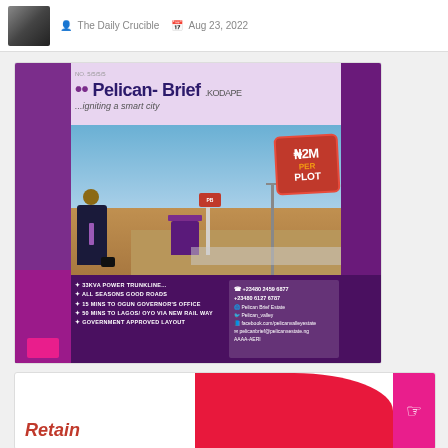The Daily Crucible  Aug 23, 2022
[Figure (photo): Pelican-Brief Kodape real estate advertisement. Features a man in a suit with a briefcase, a construction site with purple guard hut, price badge showing N2M PER PLOT, contact numbers +23480 2459 6877 and +23480 6127 6787, and bullet points: 33KVA POWER TRUNKLINE, ALL SEASONS GOOD ROADS, 15 MINS TO OGUN GOVERNOR'S OFFICE, 50 MINS TO LAGOS/OYO VIA NEW RAIL WAY, GOVERNMENT APPROVED LAYOUT]
[Figure (photo): Partial view of another advertisement with red/pink design showing the word Retain in red italic text]